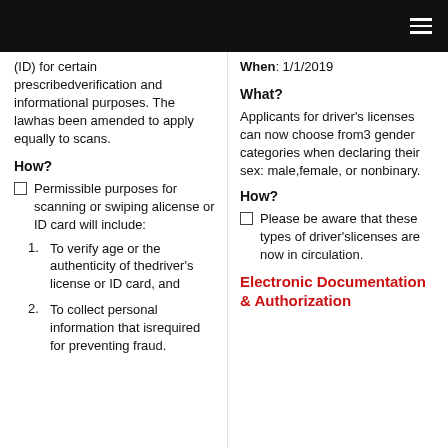(ID) for certain prescribedverification and informational purposes. The lawhas been amended to apply equally to scans.
How?
Permissible purposes for scanning or swiping alicense or ID card will include:
1. To verify age or the authenticity of thedriver's license or ID card, and
2. To collect personal information that isrequired for preventing fraud.
When: 1/1/2019
What?
Applicants for driver's licenses can now choose from3 gender categories when declaring their sex: male,female, or nonbinary.
How?
Please be aware that these types of driver'slicenses are now in circulation.
Electronic Documentation & Authorization